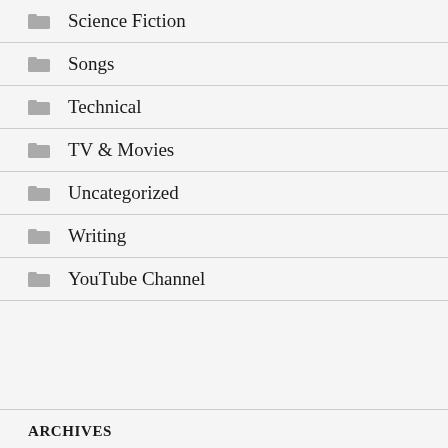Science Fiction
Songs
Technical
TV & Movies
Uncategorized
Writing
YouTube Channel
ARCHIVES